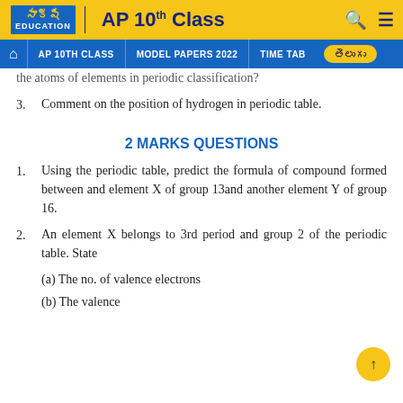సాక్షి EDUCATION | AP 10th Class | AP 10TH CLASS | MODEL PAPERS 2022 | TIME TABLE | తెలుగు
the atoms of elements in periodic classification?
3. Comment on the position of hydrogen in periodic table.
2 MARKS QUESTIONS
1. Using the periodic table, predict the formula of compound formed between and element X of group 13and another element Y of group 16.
2. An element X belongs to 3rd period and group 2 of the periodic table. State
(a) The no. of valence electrons
(b) The valence